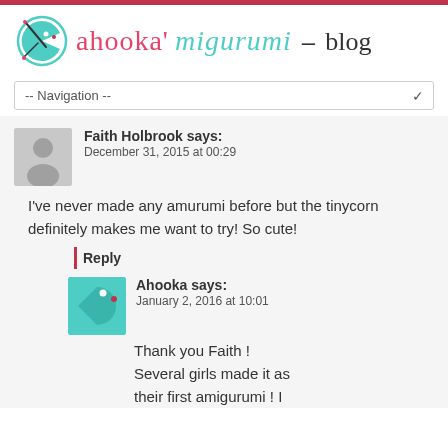ahooka'migurumi – blog
-- Navigation --
Faith Holbrook says:
December 31, 2015 at 00:29

I've never made any amurumi before but the tinycorn definitely makes me want to try! So cute!
Reply
Ahooka says:
January 2, 2016 at 10:01

Thank you Faith ! Several girls made it as their first amigurumi ! I